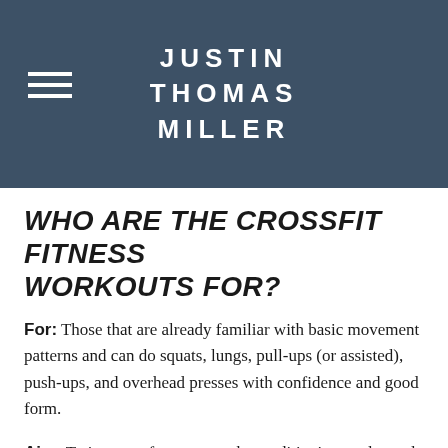JUSTIN THOMAS MILLER
WHO ARE THE CROSSFIT FITNESS WORKOUTS FOR?
For: Those that are already familiar with basic movement patterns and can do squats, lungs, pull-ups (or assisted), push-ups, and overhead presses with confidence and good form.
Aim: To improve form, strength, conditioning, and speed up fat loss or muscle growth.
Learn: How to manipulate reps, sets, and rest to improve your results in and out of the gym.